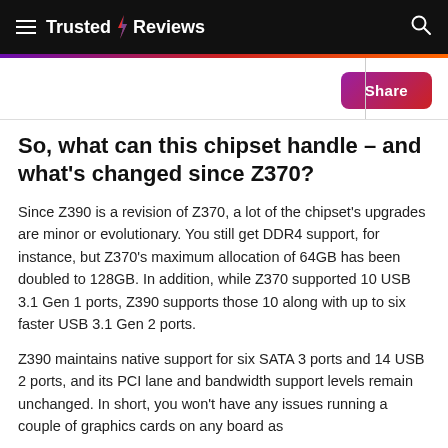Trusted Reviews
So, what can this chipset handle – and what's changed since Z370?
Since Z390 is a revision of Z370, a lot of the chipset's upgrades are minor or evolutionary. You still get DDR4 support, for instance, but Z370's maximum allocation of 64GB has been doubled to 128GB. In addition, while Z370 supported 10 USB 3.1 Gen 1 ports, Z390 supports those 10 along with up to six faster USB 3.1 Gen 2 ports.
Z390 maintains native support for six SATA 3 ports and 14 USB 2 ports, and its PCI lane and bandwidth support levels remain unchanged. In short, you won't have any issues running a couple of graphics cards on any board as